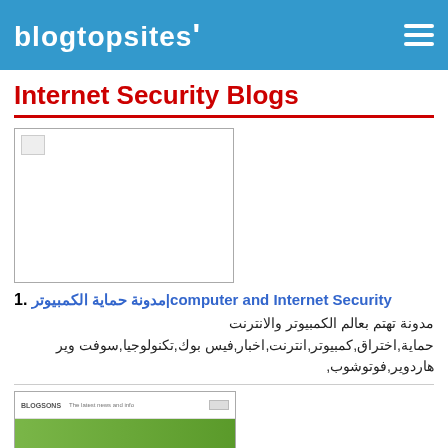blogtopsites'
Internet Security Blogs
[Figure (screenshot): Broken/empty image placeholder in a bordered box]
1. مدونة حماية الكمبيوتر|computer and Internet Security
مدونة تهتم بعالم الكمبيوتر والانترنت حماية,اختراق,كمبيوتر,انترنت,اخبار,فيس بوك,تكنولوجيا,سوفت وير هاردوير,فوتوشوب,
[Figure (screenshot): Screenshot of a blog or website with green banner and blue navigation bar, partially visible]